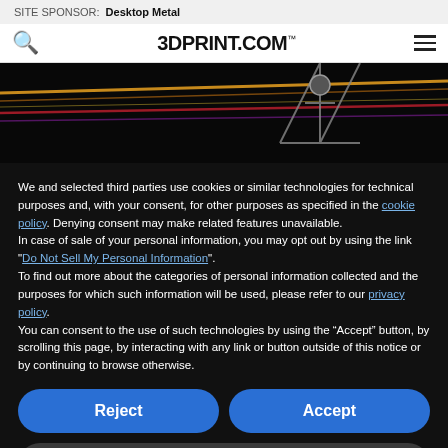SITE SPONSOR: Desktop Metal
[Figure (logo): 3DPRINT.COM logo with search icon and hamburger menu]
[Figure (photo): Dark background with colorful light streaks and a mechanical structure (3D printer gantry) in the background]
We and selected third parties use cookies or similar technologies for technical purposes and, with your consent, for other purposes as specified in the cookie policy. Denying consent may make related features unavailable.
In case of sale of your personal information, you may opt out by using the link "Do Not Sell My Personal Information".
To find out more about the categories of personal information collected and the purposes for which such information will be used, please refer to our privacy policy.
You can consent to the use of such technologies by using the “Accept” button, by scrolling this page, by interacting with any link or button outside of this notice or by continuing to browse otherwise.
Reject
Accept
Learn more and customize